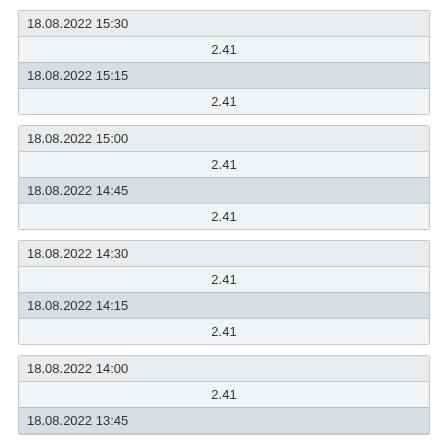| 18.08.2022 15:30 |  |
|  | 2.41 |
| 18.08.2022 15:15 |  |
|  | 2.41 |
| 18.08.2022 15:00 |  |
|  | 2.41 |
| 18.08.2022 14:45 |  |
|  | 2.41 |
| 18.08.2022 14:30 |  |
|  | 2.41 |
| 18.08.2022 14:15 |  |
|  | 2.41 |
| 18.08.2022 14:00 |  |
|  | 2.41 |
| 18.08.2022 13:45 |  |